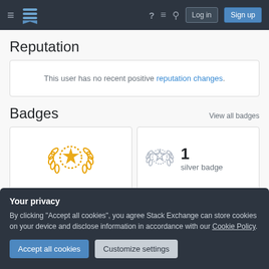Stack Exchange navigation bar with hamburger, logo, help, chat, search, Log in, Sign up
Reputation
This user has no recent positive reputation changes.
Badges
View all badges
[Figure (illustration): Gold badge icon - laurel wreath with star]
[Figure (illustration): Silver badge icon - laurel wreath with star (grey)]
1 silver badge
Your privacy
By clicking "Accept all cookies", you agree Stack Exchange can store cookies on your device and disclose information in accordance with our Cookie Policy.
Accept all cookies
Customize settings
15